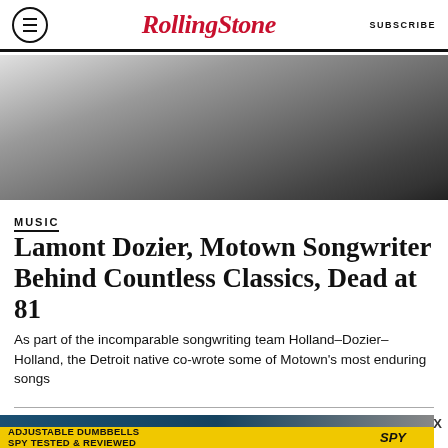RollingStone | SUBSCRIBE
[Figure (photo): Black and white photograph of Lamont Dozier seated in a chair]
MUSIC
Lamont Dozier, Motown Songwriter Behind Countless Classics, Dead at 81
As part of the incomparable songwriting team Holland–Dozier–Holland, the Detroit native co-wrote some of Motown's most enduring songs
[Figure (photo): Advertisement for adjustable dumbbells — SPY Tested & Reviewed, yellow background with SPY logo]